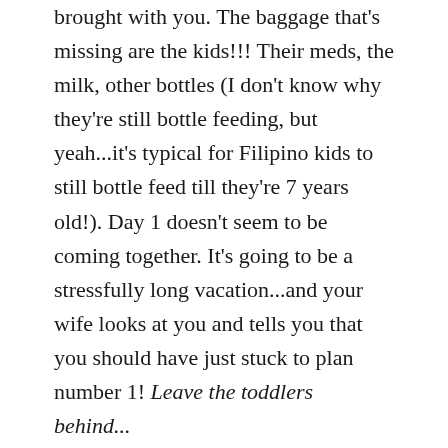brought with you. The baggage that's missing are the kids!!! Their meds, the milk, other bottles (I don't know why they're still bottle feeding, but yeah...it's typical for Filipino kids to still bottle feed till they're 7 years old!). Day 1 doesn't seem to be coming together. It's going to be a stressfully long vacation...and your wife looks at you and tells you that you should have just stuck to plan number 1! Leave the toddlers behind...
5. As you settle in to your BnB apartment, your 2 year old has a temperature of 40 C.